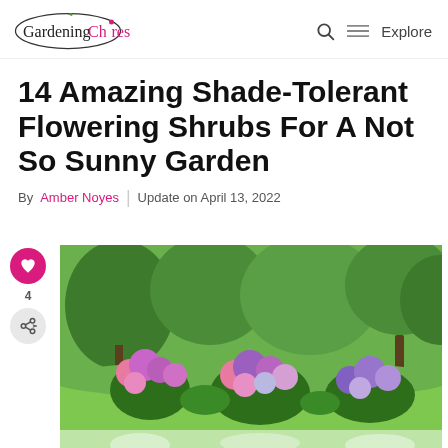Gardening Chores | Q Explore
14 Amazing Shade-Tolerant Flowering Shrubs For A Not So Sunny Garden
By Amber Noyes | Update on April 13, 2022
[Figure (photo): Garden photo showing colorful pink, purple, and white hydrangea shrubs in a shaded garden with green trees in the background]